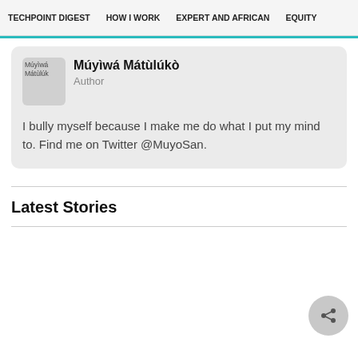TECHPOINT DIGEST   HOW I WORK   EXPERT AND AFRICAN   EQUITY
Múyìwá Mátùlúkò
Author

I bully myself because I make me do what I put my mind to. Find me on Twitter @MuyoSan.
Latest Stories